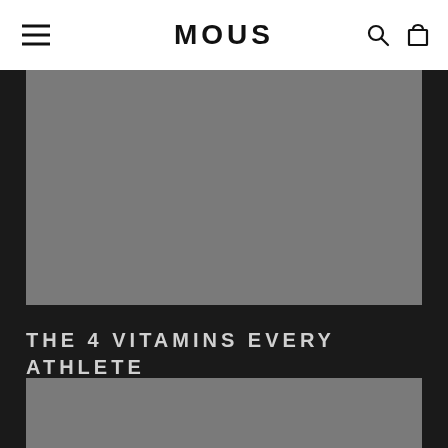mous
[Figure (photo): Top image placeholder - grey rectangular image area at top of article page]
THE 4 VITAMINS EVERY ATHLETE SHOULD BE TAKING
[Figure (photo): Bottom image placeholder - grey rectangular image area below article title]